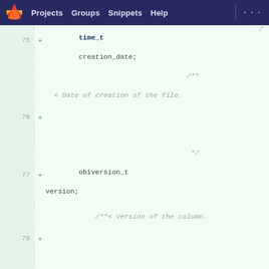GitLab navigation: Projects, Groups, Snippets, Help
[Figure (screenshot): GitLab code diff view showing lines 75-79 of a C/C++ header file with added lines (+) containing time_t creation_date, obiversion_t version, and obiversion_t cloned_from fields with Doxygen comments.]